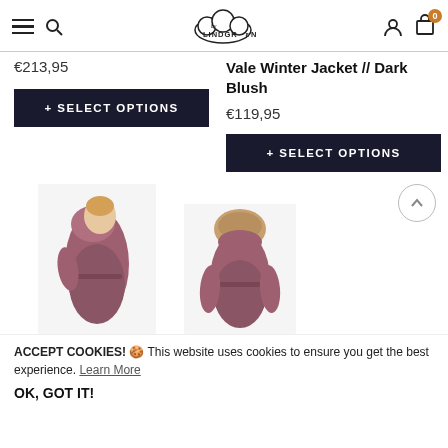by LINDGREN — navigation with hamburger, search, logo, user, cart (0)
€213,95
+ SELECT OPTIONS
Vale Winter Jacket // Dark Blush
€119,95
+ SELECT OPTIONS
[Figure (photo): Child wearing dark blush/rose winter jacket, side view with hood, standing pose]
[Figure (photo): Dark blush/rose winter jacket shown from the back with fur-trimmed hood]
ACCEPT COOKIES! 🍪 This website uses cookies to ensure you get the best experience. Learn More
OK, GOT IT!